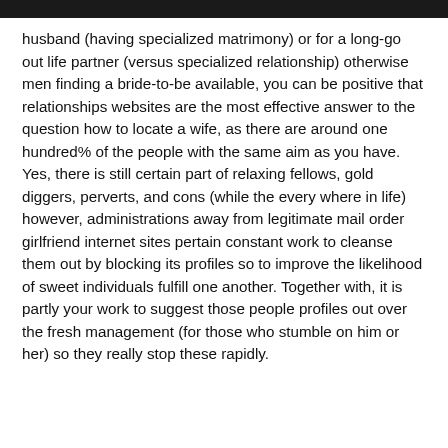husband (having specialized matrimony) or for a long-go out life partner (versus specialized relationship) otherwise men finding a bride-to-be available, you can be positive that relationships websites are the most effective answer to the question how to locate a wife, as there are around one hundred% of the people with the same aim as you have. Yes, there is still certain part of relaxing fellows, gold diggers, perverts, and cons (while the every where in life) however, administrations away from legitimate mail order girlfriend internet sites pertain constant work to cleanse them out by blocking its profiles so to improve the likelihood of sweet individuals fulfill one another. Together with, it is partly your work to suggest those people profiles out over the fresh management (for those who stumble on him or her) so they really stop these rapidly.